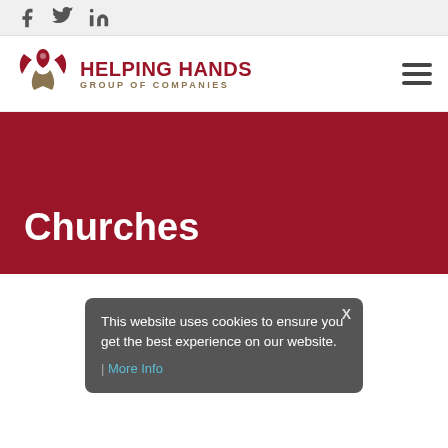Social media icons: Facebook, Twitter, LinkedIn
[Figure (logo): Helping Hands Group of Companies logo with stylized figure icon in red and gold]
Churches
This website uses cookies to ensure you get the best experience on our website. More Info